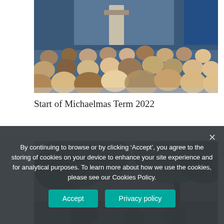[Figure (photo): Audience of students and adults seated facing a speaker at a podium, viewed from behind, with blue curtains in the background.]
Start of Michaelmas Term 2022
[Figure (photo): Outdoor scene with trees and people partially visible, set in what appears to be a school or college garden.]
By continuing to browse or by clicking ‘Accept’, you agree to the storing of cookies on your device to enhance your site experience and for analytical purposes. To learn more about how we use the cookies, please see our Cookies Policy.